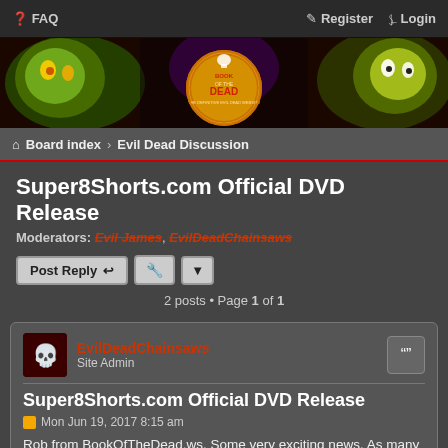FAQ | Register | Login
[Figure (illustration): Book of the Dead website banner with zombie characters on left and right, and a circular orange/red Book of the Dead logo in the center]
Board index › Evil Dead Discussion
Super8Shorts.com Official DVD Release
Moderators: Evil James, EvilDeadChainsaws
Post Reply [tools] 2 posts • Page 1 of 1
EvilDeadChainsaws Site Admin
Super8Shorts.com Official DVD Release
Mon Jun 19, 2017 8:15 am
Rob from BookOfTheDead.ws. Some very exciting news. As many of you will know, before 'The Evil Dead' there were nearly seventy of Super-8 Short Films made from 1969 onwards. A DVD set is in the works containing around